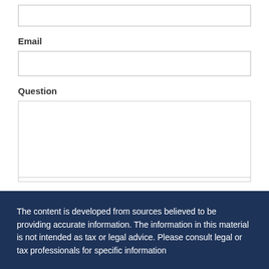(top input field — partially visible)
Email
Question
SUBMIT
The content is developed from sources believed to be providing accurate information. The information in this material is not intended as tax or legal advice. Please consult legal or tax professionals for specific information